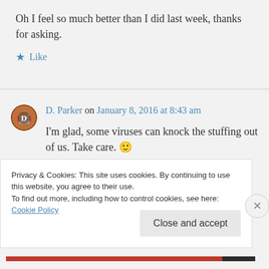Oh I feel so much better than I did last week, thanks for asking.
Like
D. Parker on January 8, 2016 at 8:43 am
I'm glad, some viruses can knock the stuffing out of us. Take care. 🙂
Privacy & Cookies: This site uses cookies. By continuing to use this website, you agree to their use.
To find out more, including how to control cookies, see here: Cookie Policy
Close and accept